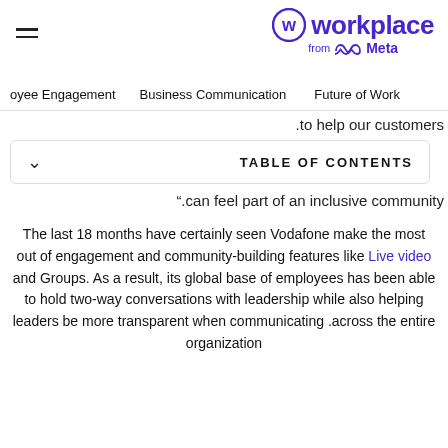Workplace from Meta
oyee Engagement   Business Communication   Future of Work
.to help our customers
TABLE OF CONTENTS
".can feel part of an inclusive community
The last 18 months have certainly seen Vodafone make the most out of engagement and community-building features like Live video and Groups. As a result, its global base of employees has been able to hold two-way conversations with leadership while also helping leaders be more transparent when communicating across the entire organization.